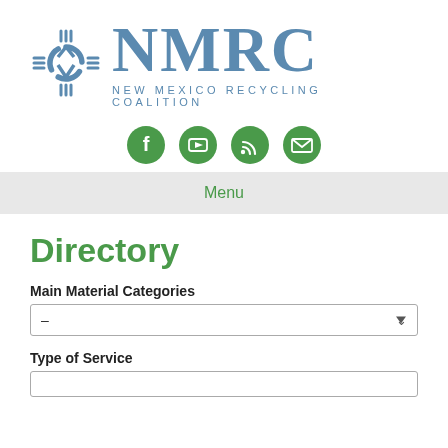[Figure (logo): New Mexico Recycling Coalition logo with zia symbol and NMRC text in steel blue]
[Figure (infographic): Four green circular social media icons: Facebook, YouTube, RSS feed, and Email]
Menu
Directory
Main Material Categories
–
Type of Service